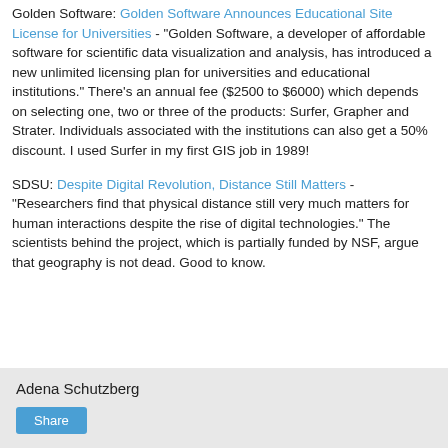Golden Software: Golden Software Announces Educational Site License for Universities - "Golden Software, a developer of affordable software for scientific data visualization and analysis, has introduced a new unlimited licensing plan for universities and educational institutions." There's an annual fee ($2500 to $6000) which depends on selecting one, two or three of the products: Surfer, Grapher and Strater. Individuals associated with the institutions can also get a 50% discount. I used Surfer in my first GIS job in 1989!
SDSU: Despite Digital Revolution, Distance Still Matters - "Researchers find that physical distance still very much matters for human interactions despite the rise of digital technologies." The scientists behind the project, which is partially funded by NSF, argue that geography is not dead. Good to know.
Adena Schutzberg
Share